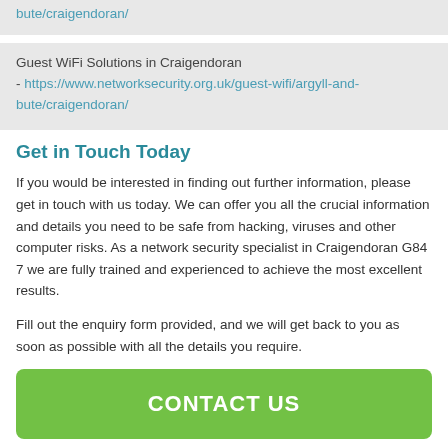bute/craigendoran/
Guest WiFi Solutions in Craigendoran - https://www.networksecurity.org.uk/guest-wifi/argyll-and-bute/craigendoran/
Get in Touch Today
If you would be interested in finding out further information, please get in touch with us today. We can offer you all the crucial information and details you need to be safe from hacking, viruses and other computer risks. As a network security specialist in Craigendoran G84 7 we are fully trained and experienced to achieve the most excellent results.
Fill out the enquiry form provided, and we will get back to you as soon as possible with all the details you require.
CONTACT US